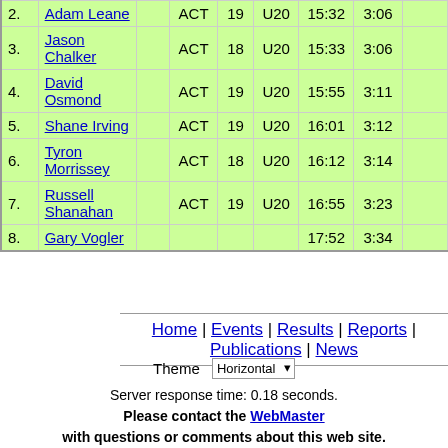| # | Name |  | State | Age | Grade | Time | Pace |  |
| --- | --- | --- | --- | --- | --- | --- | --- | --- |
| 2. | Adam Leane |  | ACT | 19 | U20 | 15:32 | 3:06 |  |
| 3. | Jason Chalker |  | ACT | 18 | U20 | 15:33 | 3:06 |  |
| 4. | David Osmond |  | ACT | 19 | U20 | 15:55 | 3:11 |  |
| 5. | Shane Irving |  | ACT | 19 | U20 | 16:01 | 3:12 |  |
| 6. | Tyron Morrissey |  | ACT | 18 | U20 | 16:12 | 3:14 |  |
| 7. | Russell Shanahan |  | ACT | 19 | U20 | 16:55 | 3:23 |  |
| 8. | Gary Vogler |  |  |  |  | 17:52 | 3:34 |  |
Home | Events | Results | Reports | Publications | News
Theme Horizontal
Server response time: 0.18 seconds.
Please contact the WebMaster
with questions or comments about this web site.
© 1999-2021 Canberra Runners. All rights reserved.
Last Updated: 27 May 2021